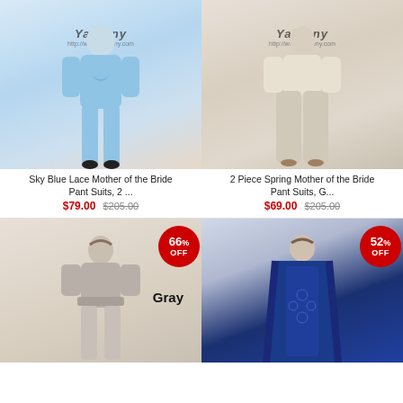[Figure (photo): Woman in sky blue long-sleeve top and wide-leg blue pants with Yabreny watermark]
Sky Blue Lace Mother of the Bride Pant Suits, 2 ...
$79.00  $205.00
[Figure (photo): Woman in beige/champagne wide-leg pants and top with Yabreny watermark]
2 Piece Spring Mother of the Bride Pant Suits, G...
$69.00  $205.00
[Figure (photo): Woman in gray 3/4 sleeve layered top with 66% OFF badge and Gray color label]
[Figure (photo): Woman in navy blue lace gown with shawl with 52% OFF badge]